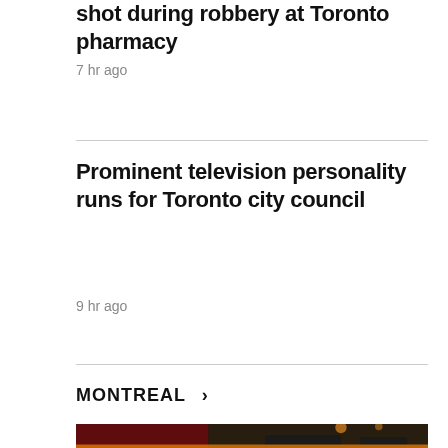shot during robbery at Toronto pharmacy
7 hr ago
Prominent television personality runs for Toronto city council
9 hr ago
MONTREAL >
[Figure (photo): Nighttime crime scene photo showing police vehicles with lights, cars parked on a street, and orange police tape visible in the foreground.]